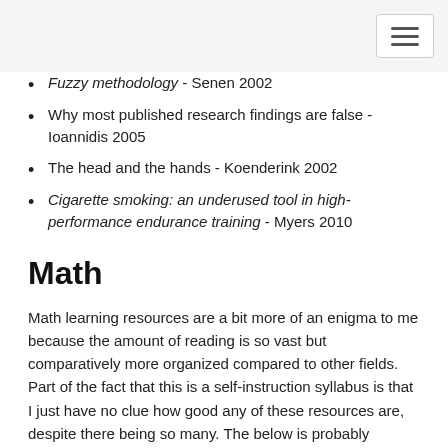Fuzzy methodology - Senen 2002 (partial, cut off at top)
Why most published research findings are false - Ioannidis 2005
The head and the hands - Koenderink 2002
Cigarette smoking: an underused tool in high-performance endurance training - Myers 2010
Math
Math learning resources are a bit more of an enigma to me because the amount of reading is so vast but comparatively more organized compared to other fields. Part of the fact that this is a self-instruction syllabus is that I just have no clue how good any of these resources are, despite there being so many. The below is probably enough to keep me busy for multiple years, even if I go very fast, and it definitely the least immediately clear to me how useful any of this will be (especially given that my colleagues are so skilled at math).